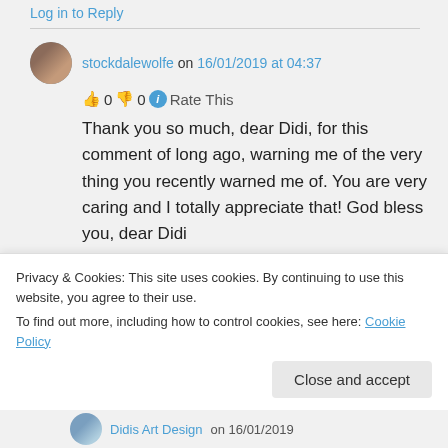Log in to Reply
stockdalewolfe on 16/01/2019 at 04:37
👍 0 👎 0 ℹ Rate This
Thank you so much, dear Didi, for this comment of long ago, warning me of the very thing you recently warned me of. You are very caring and I totally appreciate that! God bless you, dear Didi
Privacy & Cookies: This site uses cookies. By continuing to use this website, you agree to their use.
To find out more, including how to control cookies, see here: Cookie Policy
Close and accept
Didis Art Design on 16/01/2019